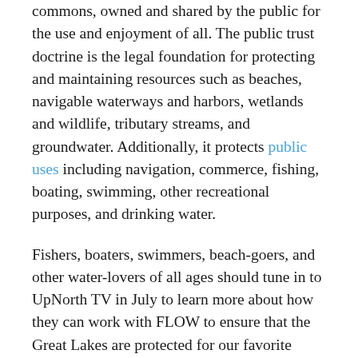commons, owned and shared by the public for the use and enjoyment of all. The public trust doctrine is the legal foundation for protecting and maintaining resources such as beaches, navigable waterways and harbors, wetlands and wildlife, tributary streams, and groundwater. Additionally, it protects public uses including navigation, commerce, fishing, boating, swimming, other recreational purposes, and drinking water.
Fishers, boaters, swimmers, beach-goers, and other water-lovers of all ages should tune in to UpNorth TV in July to learn more about how they can work with FLOW to ensure that the Great Lakes are protected for our favorite activities now and for future generations.
The segment will air on Charter Cable's analog channel, 97, and digital channels, 2 and 992.